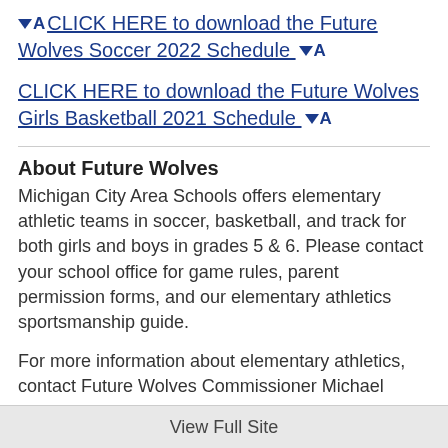⬇A CLICK HERE to download the Future Wolves Soccer 2022 Schedule ⬇A
CLICK HERE to download the Future Wolves Girls Basketball 2021 Schedule ⬇A
About Future Wolves
Michigan City Area Schools offers elementary athletic teams in soccer, basketball, and track for both girls and boys in grades 5 & 6. Please contact your school office for game rules, parent permission forms, and our elementary athletics sportsmanship guide.
For more information about elementary athletics, contact Future Wolves Commissioner Michael Karpinski at mkarpinski@mcas.k12.in.us or call (219) 873-2044 ext. 4431.
View Full Site